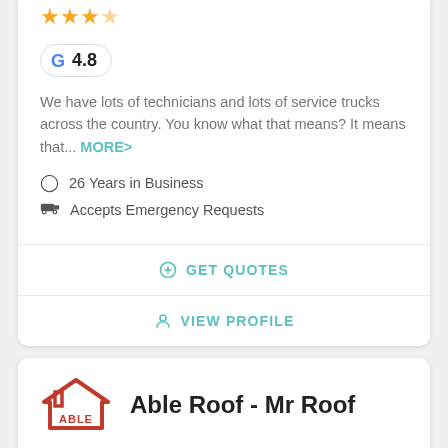[Figure (other): Star rating row (partial, top cropped) with orange stars]
[Figure (logo): Google G logo badge showing rating 4.8]
We have lots of technicians and lots of service trucks across the country. You know what that means? It means that... MORE>
26 Years in Business
Accepts Emergency Requests
GET QUOTES
VIEW PROFILE
[Figure (logo): Able Roof - Mr Roof logo: red house/roof icon with ABLE text]
Able Roof - Mr Roof
107 Verified Reviews